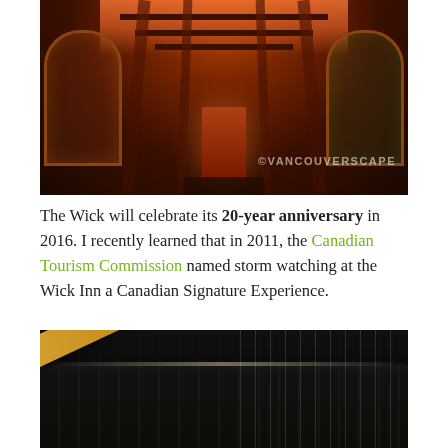[Figure (photo): Nighttime exterior photo of the Wick Inn entrance — a warmly lit wooden covered walkway with glowing orange/red ceiling, two arched windows on either side, and a central red door at the end. Watermark reads ©VANCOUVERSCAPE.]
The Wick will celebrate its 20-year anniversary in 2016. I recently learned that in 2011, the Canadian Tourism Commission named storm watching at the Wick Inn a Canadian Signature Experience.
[Figure (photo): Close-up photo of a dark wooden ceiling with a diagonal light-colored wooden beam, appearing wet or rain-covered, consistent with a stormy outdoor structure.]